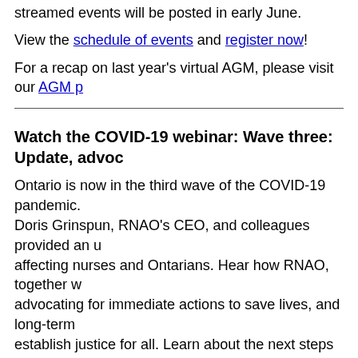streamed events will be posted in early June.
View the schedule of events and register now!
For a recap on last year's virtual AGM, please visit our AGM p
Watch the COVID-19 webinar: Wave three: Update, advoc
Ontario is now in the third wave of the COVID-19 pandemic. Doris Grinspun, RNAO’s CEO, and colleagues provided an u affecting nurses and Ontarians. Hear how RNAO, together w advocating for immediate actions to save lives, and long-term establish justice for all. Learn about the next steps and how y of this devastating virus and its variants.
Watch a recording of the April 12, 2021, webinar here.
To learn more about the COVID-19 Webinar Series, go here.
The next webinar in the series will be on May 10, 2-4 ET. Det